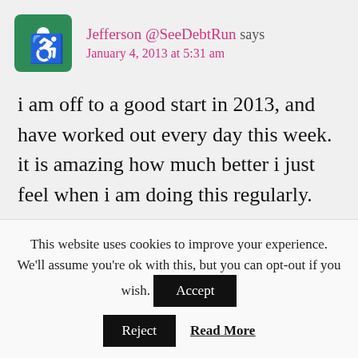[Figure (logo): Green rounded square avatar icon with a white figure/person silhouette]
Jefferson @SeeDebtRun says
January 4, 2013 at 5:31 am
i am off to a good start in 2013, and have worked out every day this week. it is amazing how much better i just feel when i am doing this regularly.
the trick will be sticking with it when work gets stressful or when my or one of my kids
This website uses cookies to improve your experience. We'll assume you're ok with this, but you can opt-out if you wish.
Accept
Reject
Read More